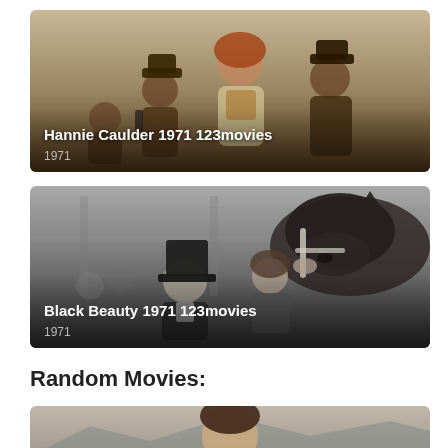[Figure (photo): Movie card for Hannie Caulder 1971 – western themed image showing characters in warm sepia tones with overlay text]
[Figure (photo): Movie card for Black Beauty 1971 – black and white photo of a horse and people including a man in a top hat]
Random Movies:
[Figure (photo): Partial movie card at the bottom – partial view of a man's face against a landscape background]